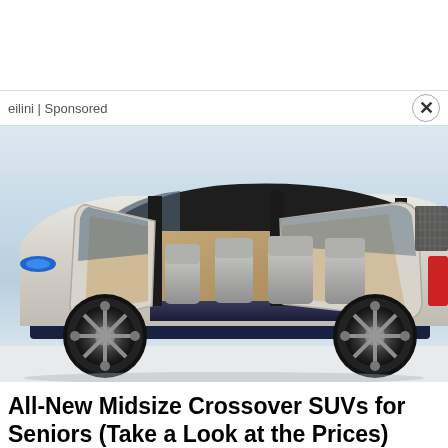eilini | Sponsored
[Figure (photo): A concept crossover SUV with all doors open wide, showing silver/beige interior seating and futuristic design, with large stylized wheels. Light blue gradient background.]
All-New Midsize Crossover SUVs for Seniors (Take a Look at the Prices)